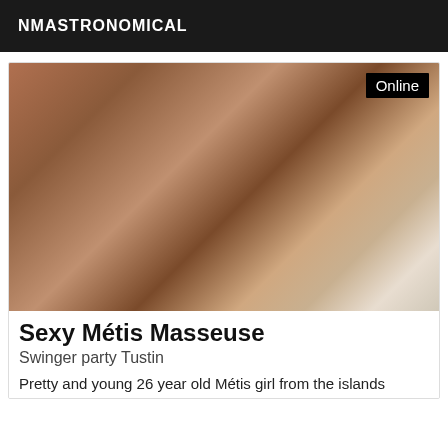NMASTRONOMICAL
[Figure (photo): Close-up photo of a person's back and shoulders with dark hair, indoor background with curtains]
Sexy Métis Masseuse
Swinger party Tustin
Pretty and young 26 year old Métis girl from the islands